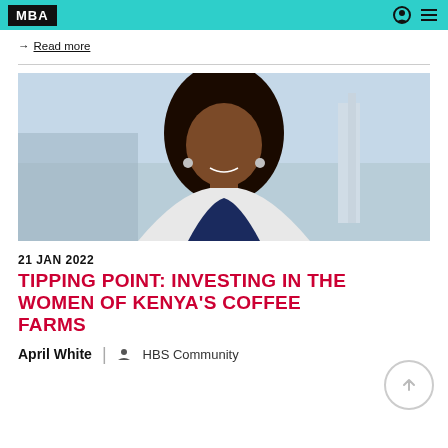MBA
→ Read more
[Figure (photo): Portrait photo of a young Black woman with long dark hair, smiling, wearing a navy top and a white jacket, with a city skyline in the background.]
21 JAN 2022
TIPPING POINT: INVESTING IN THE WOMEN OF KENYA'S COFFEE FARMS
April White | HBS Community